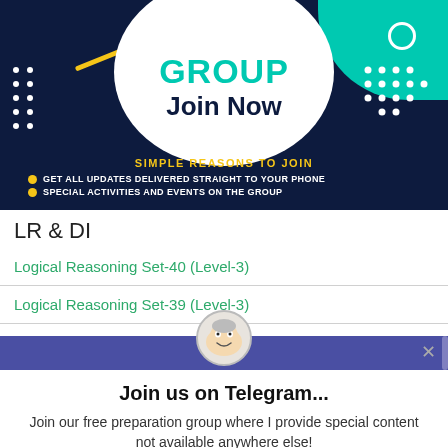[Figure (infographic): Telegram group join banner with dark navy background, teal circle shape, white circle in center containing 'GROUP Join Now' text, yellow bullet points listing reasons to join a Telegram group.]
LR & DI
Logical Reasoning Set-40 (Level-3)
Logical Reasoning Set-39 (Level-3)
[Figure (infographic): Popup modal for Telegram group join. Purple bar at top with mascot cartoon face. Title: 'Join us on Telegram...' Body text: 'Join our free preparation group where I provide special content not available anywhere else!' Blue Telegram button at bottom. X close button top right.]
Join us on Telegram...
Join our free preparation group where I provide special content not available anywhere else!
Telegram